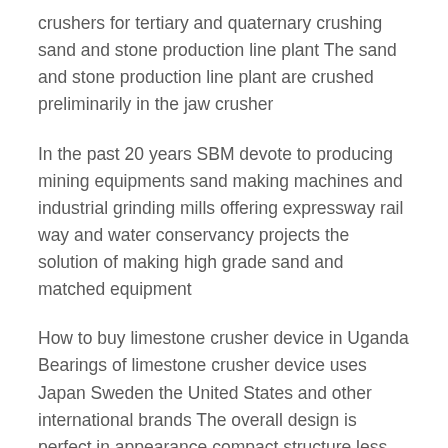crushers for tertiary and quaternary crushing sand and stone production line plant The sand and stone production line plant are crushed preliminarily in the jaw crusher
In the past 20 years SBM devote to producing mining equipments sand making machines and industrial grinding mills offering expressway rail way and water conservancy projects the solution of making high grade sand and matched equipment
How to buy limestone crusher device in Uganda Bearings of limestone crusher device uses Japan Sweden the United States and other international brands The overall design is perfect in appearance compact structure less wearing parts easy maintenance etc and it is the upgrading products Mine stone crusher news
Local Crushing Plant if you want to know the fre...